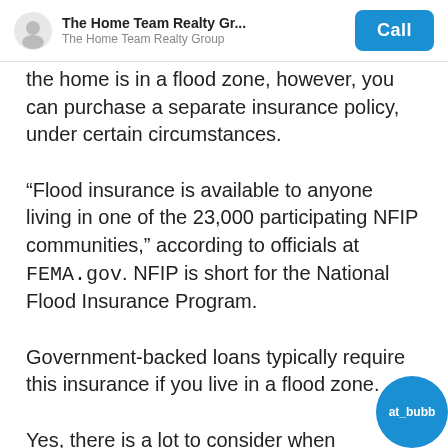The Home Team Realty Gr... / The Home Team Realty Group | Call
the home is in a flood zone, however, you can purchase a separate insurance policy, under certain circumstances.
“Flood insurance is available to anyone living in one of the 23,000 participating NFIP communities,” according to officials at FEMA.gov. NFIP is short for the National Flood Insurance Program.
Government-backed loans typically require this insurance if you live in a flood zone.
Yes, there is a lot to consider when purchasing a home. Do yourself a favor and consult with you